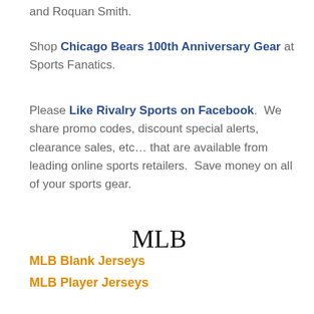and Roquan Smith.
Shop Chicago Bears 100th Anniversary Gear at Sports Fanatics.
Please Like Rivalry Sports on Facebook.  We share promo codes, discount special alerts, clearance sales, etc... that are available from leading online sports retailers.  Save money on all of your sports gear.
MLB
MLB Blank Jerseys
MLB Player Jerseys
MLB Apparel
MLB Women's Apparel
NFL